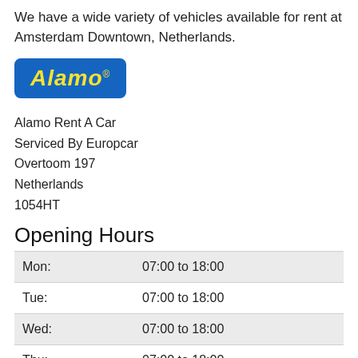We have a wide variety of vehicles available for rent at Amsterdam Downtown, Netherlands.
[Figure (logo): Alamo logo: blue rounded rectangle with yellow italic bold text 'Alamo' and registered trademark symbol]
Alamo Rent A Car
Serviced By Europcar
Overtoom 197
Netherlands
1054HT
Opening Hours
| Day | Hours |
| --- | --- |
| Mon: | 07:00 to 18:00 |
| Tue: | 07:00 to 18:00 |
| Wed: | 07:00 to 18:00 |
| Thu: | 07:00 to 18:00 |
| Fri: | 07:00 to 18:00 |